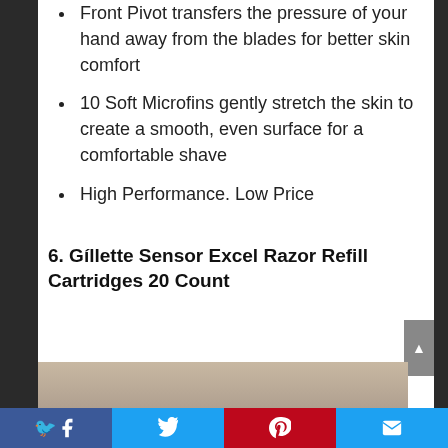Front Pivot transfers the pressure of your hand away from the blades for better skin comfort
10 Soft Microfins gently stretch the skin to create a smooth, even surface for a comfortable shave
High Performance. Low Price
6. Gíllette Sensor Excel Razor Refill Cartridges 20 Count
[Figure (photo): Partial product image of Gillette Sensor Excel Razor Refill Cartridges at bottom of page]
Facebook | Twitter | Pinterest | Email social share bar